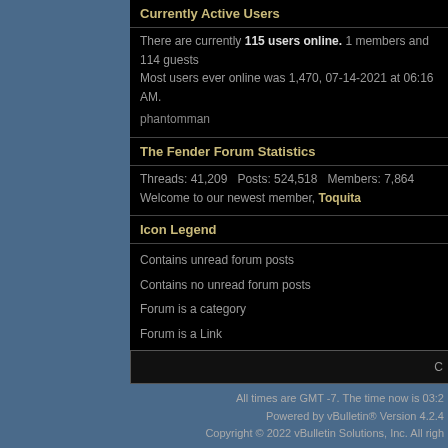Currently Active Users
There are currently 115 users online. 1 members and 114 guests
Most users ever online was 1,470, 07-14-2021 at 06:16 AM.
phantomman
The Fender Forum Statistics
Threads: 41,209  Posts: 524,518  Members: 7,864
Welcome to our newest member, Toquita
Icon Legend
Contains unread forum posts
Contains no unread forum posts
Forum is a category
Forum is a Link
C
All times are GMT -7. The time now is 03:2
Powered by vBulletin® Version 4.2.4
Copyright © 2022 vBulletin Solutions, Inc. All righ
The Fender Forum is a privately owned and op
The Fender Forum is in no way affiliated with Fender Musica
All trademarks are the property of FMI